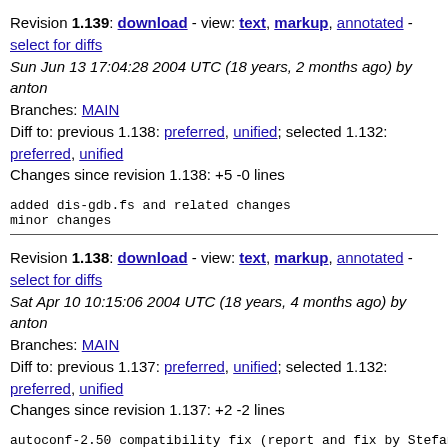Revision 1.139: download - view: text, markup, annotated - select for diffs
Sun Jun 13 17:04:28 2004 UTC (18 years, 2 months ago) by anton
Branches: MAIN
Diff to: previous 1.138: preferred, unified; selected 1.132: preferred, unified
Changes since revision 1.138: +5 -0 lines
added dis-gdb.fs and related changes
minor changes
Revision 1.138: download - view: text, markup, annotated - select for diffs
Sat Apr 10 10:15:06 2004 UTC (18 years, 4 months ago) by anton
Branches: MAIN
Diff to: previous 1.137: preferred, unified; selected 1.132: preferred, unified
Changes since revision 1.137: +2 -2 lines
autoconf-2.50 compatibility fix (report and fix by Stefan
https://savannah.gnu.org/bugs/index.php?func=detailitem
Revision 1.137: download - view: text, markup, annotated - select for diffs
Sun Dec 7 23:05:30 2003 UTC (18 years, 9 months ago) by pazsan
Branches: MAIN